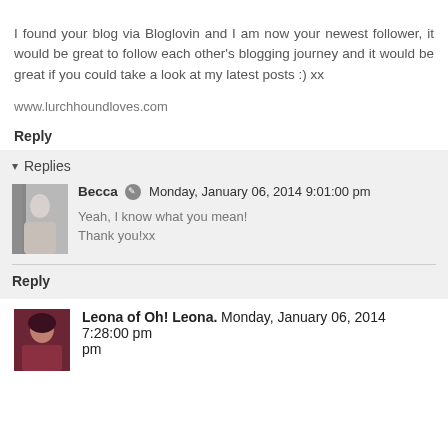I found your blog via Bloglovin and I am now your newest follower, it would be great to follow each other's blogging journey and it would be great if you could take a look at my latest posts :) xx
www.lurchhoundloves.com
Reply
Replies
Becca  Monday, January 06, 2014 9:01:00 pm
Yeah, I know what you mean!
Thank you!xx
Reply
Leona of Oh! Leona.  Monday, January 06, 2014 7:28:00 pm